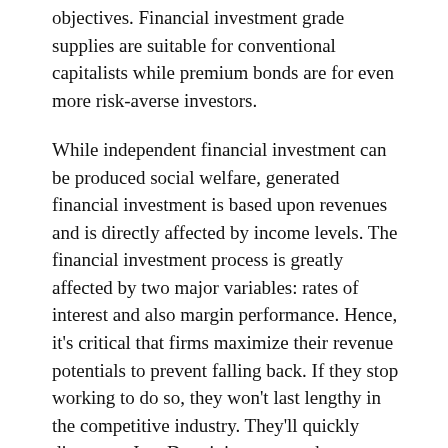objectives. Financial investment grade supplies are suitable for conventional capitalists while premium bonds are for even more risk-averse investors.
While independent financial investment can be produced social welfare, generated financial investment is based upon revenues and is directly affected by income levels. The financial investment process is greatly affected by two major variables: rates of interest and also margin performance. Hence, it's critical that firms maximize their revenue potentials to prevent falling back. If they stop working to do so, they won't last lengthy in the competitive industry. They'll quickly disappear. In a Darwinian means, the most effective firms will certainly make it through. best gold ira companies
A conventional capitalist might be a lot more worried with earnings. In this case, he or she may